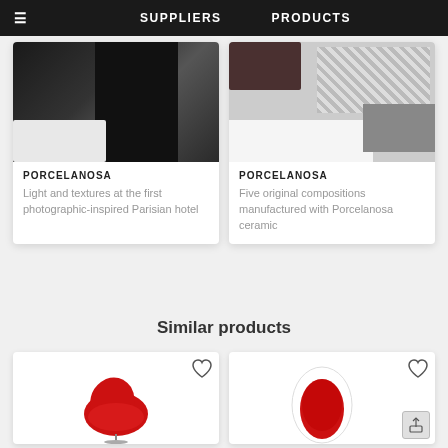SUPPLIERS   PRODUCTS
[Figure (photo): Dark bathroom interior with black walls and white fixtures]
PORCELANOSA
Light and textures at the first photographic-inspired Parisian hotel
[Figure (photo): Porcelanosa ceramic tile compositions in various patterns and textures]
PORCELANOSA
Five original compositions manufactured with Porcelanosa ceramic
Similar products
[Figure (photo): Red swan-style modern armchair]
[Figure (photo): White and red oval pod chair]